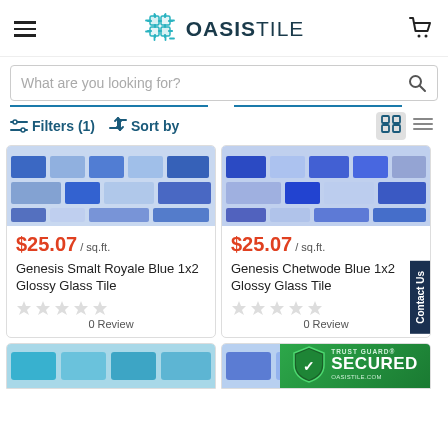OASIS TILE
What are you looking for?
Filters (1)  Sort by
[Figure (photo): Genesis Smalt Royale Blue 1x2 Glossy Glass Tile product image - blue mosaic tiles]
$25.07 / sq.ft.
Genesis Smalt Royale Blue 1x2 Glossy Glass Tile
0 Review
[Figure (photo): Genesis Chetwode Blue 1x2 Glossy Glass Tile product image - blue mosaic tiles]
$25.07 / sq.ft.
Genesis Chetwode Blue 1x2 Glossy Glass Tile
0 Review